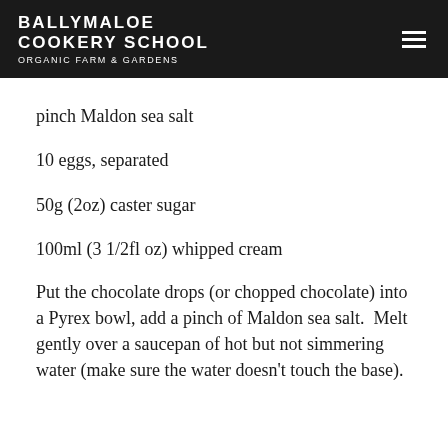BALLYMALOE COOKERY SCHOOL ORGANIC FARM & GARDENS
pinch Maldon sea salt
10 eggs, separated
50g (2oz) caster sugar
100ml (3 1/2fl oz) whipped cream
Put the chocolate drops (or chopped chocolate) into a Pyrex bowl, add a pinch of Maldon sea salt.  Melt gently over a saucepan of hot but not simmering water (make sure the water doesn't touch the base).